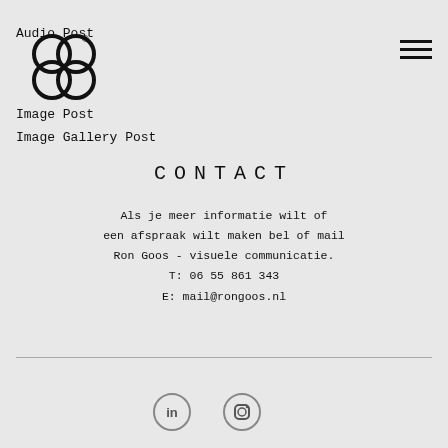[Figure (logo): Ron Goos stylized circular logo with interlocking shapes and registered trademark symbol]
Audio Post
Image Post
Image Gallery Post
CONTACT
Als je meer informatie wilt of een afspraak wilt maken bel of mail Ron Goos - visuele communicatie.
T: 06 55 861 343
E: mail@rongoos.nl
[Figure (logo): LinkedIn icon circle]
[Figure (logo): Instagram icon circle]